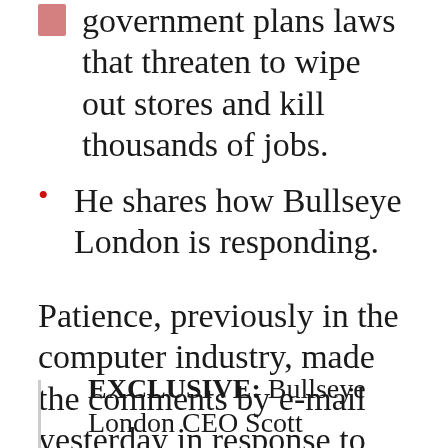government plans laws that threaten to wipe out stores and kill thousands of jobs.
He shares how Bullseye London is responding.
Patience, previously in the computer industry, made the comments by e-mail yesterday in response to questions from TheGunBlog.ca.
EXCLUSIVE: Bullseye London CEO Scott